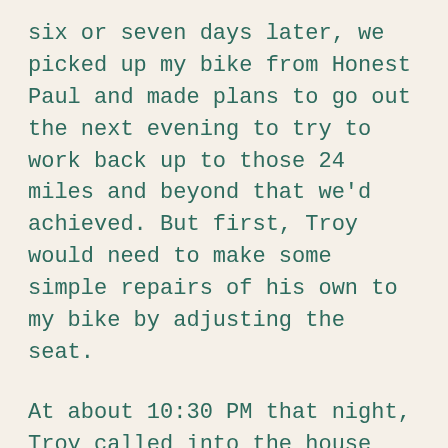six or seven days later, we picked up my bike from Honest Paul and made plans to go out the next evening to try to work back up to those 24 miles and beyond that we'd achieved. But first, Troy would need to make some simple repairs of his own to my bike by adjusting the seat.
At about 10:30 PM that night, Troy called into the house and asked me to come out and look at my bike. He'd been working on the seat and needed to know if it fit properly. I sat down on the bike in the driveway, wiggled around a bit, then said “Feels fine.”
“Why don’t you just take it down the driveway to make sure it feels okay,” Troy said.